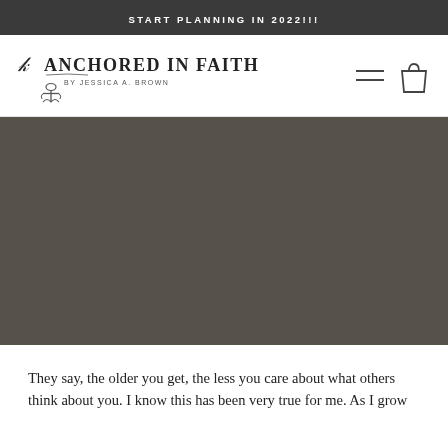START PLANNING IN 2022!!!
[Figure (logo): Anchored In Faith by Jessica A. Brown logo with anchor icon and navigation icons (hamburger menu and shopping bag)]
[Figure (photo): Dark olive/brown colored hero image placeholder with no visible subject]
They say, the older you get, the less you care about what others think about you. I know this has been very true for me. As I grow